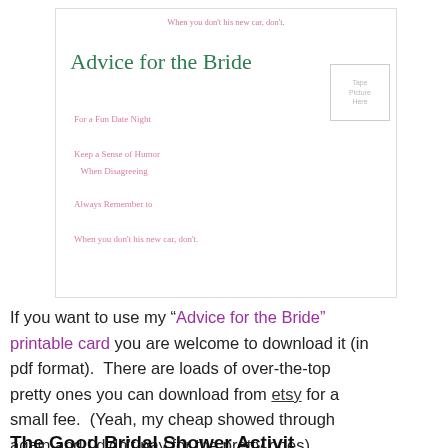[Figure (illustration): A printable 'Advice for the Bride' card with cursive script prompts in pink and green. Title reads 'Advice for the Bride' in green script. Prompts include 'For a Fun Date Night', 'Keep a Sense of Humor When Disagreeing', 'Always Remember to', 'When you don't his new car, don't.' with a tape-picture area on the right. Small top text reads 'When you don't his new car, don't.']
If you want to use my “Advice for the Bride” printable card you are welcome to download it (in pdf format).  There are loads of over-the-top pretty ones you can download from etsy for a small fee.  (Yeah, my cheap showed through again and I didn’t pay for the pretty ones)
The Grood Bridal Shower Activity